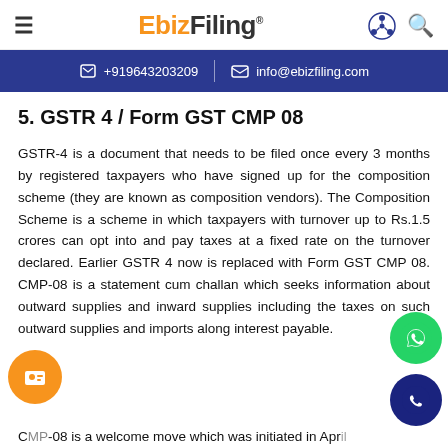EbizFiling
+919643203209   info@ebizfiling.com
5. GSTR 4 / Form GST CMP 08
GSTR-4 is a document that needs to be filed once every 3 months by registered taxpayers who have signed up for the composition scheme (they are known as composition vendors). The Composition Scheme is a scheme in which taxpayers with turnover up to Rs.1.5 crores can opt into and pay taxes at a fixed rate on the turnover declared. Earlier GSTR 4 now is replaced with Form GST CMP 08. CMP-08 is a statement cum challan which seeks information about outward supplies and inward supplies including the taxes on such outward supplies and imports along interest payable.
C...P-08 is a welcome move which was initiated in Apr...